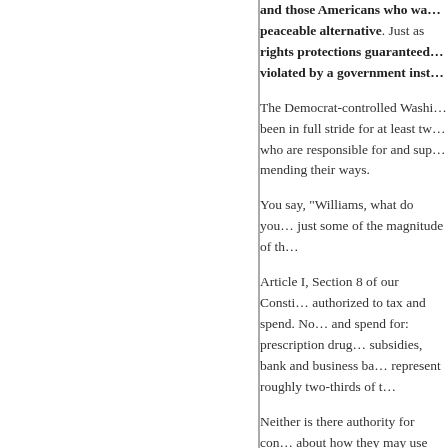and those Americans who wa... peaceable alternative. Just as rights protections guaranteed... violated by a government inst...
The Democrat-controlled Washi... been in full stride for at least tw... who are responsible for and sup... mending their ways.
You say, "Williams, what do you... just some of the magnitude of th...
Article I, Section 8 of our Consti... authorized to tax and spend. No... and spend for: prescription drug... subsidies, bank and business ba... represent roughly two-thirds of t...
Neither is there authority for con... about how they may use their la... library has wheelchair ramps an...
The list of congressional violatio... virtually without end. Our dereli... do anything upon which they ca...